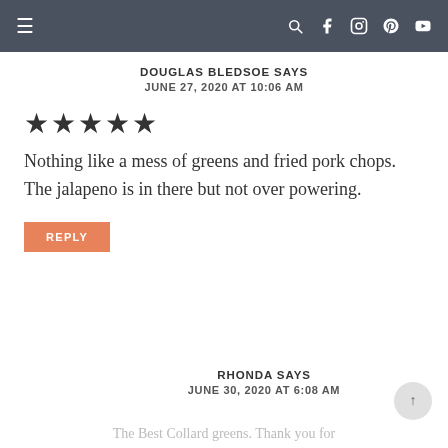≡  [search] [facebook] [instagram] [pinterest] [youtube]
DOUGLAS BLEDSOE SAYS
JUNE 27, 2020 AT 10:06 AM
★★★★★
Nothing like a mess of greens and fried pork chops. The jalapeno is in there but not over powering.
REPLY
RHONDA SAYS
JUNE 30, 2020 AT 6:08 AM
The Best Collard greens. Thank you for